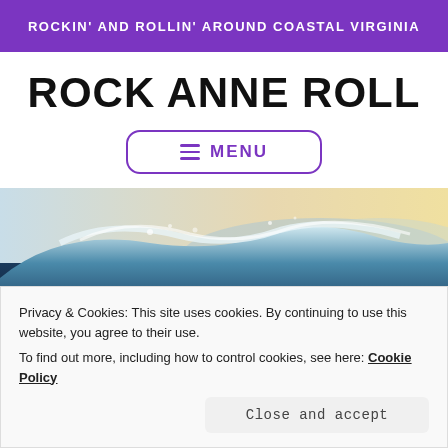ROCKIN' AND ROLLIN' AROUND COASTAL VIRGINIA
ROCK ANNE ROLL
≡ MENU
[Figure (photo): Ocean wave photo — close-up of a cresting wave with water spray and mountains/coastline in the background, warm hazy sky]
Privacy & Cookies: This site uses cookies. By continuing to use this website, you agree to their use.
To find out more, including how to control cookies, see here: Cookie Policy
Close and accept